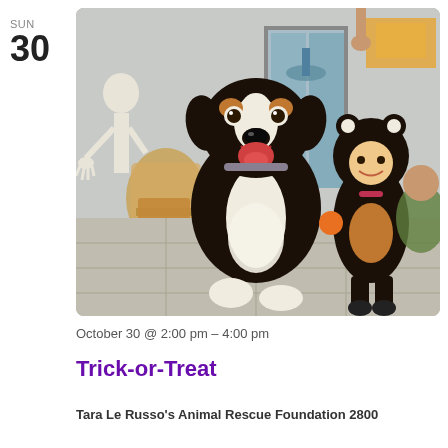SUN
30
[Figure (photo): A large Bernese Mountain Dog sitting happily next to a young child dressed in a black bear/dog costume, outdoors in a Halloween setting with a skeleton decoration visible on the left.]
October 30 @ 2:00 pm – 4:00 pm
Trick-or-Treat
Tara Le Russo's Animal Rescue Foundation 2800